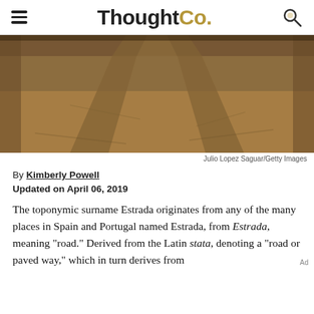ThoughtCo.
[Figure (photo): A sepia-toned dirt road receding into the distance, taken from a low perspective showing two worn tire tracks.]
Julio Lopez Saguar/Getty Images
By Kimberly Powell
Updated on April 06, 2019
The toponymic surname Estrada originates from any of the many places in Spain and Portugal named Estrada, from Estrada, meaning "road." Derived from the Latin stata, denoting a "road or paved way," which in turn derives from